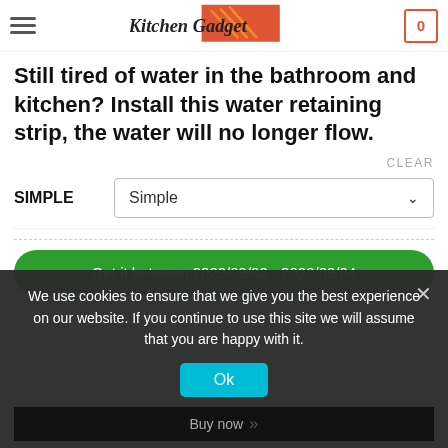Kitchen Gadget — navigation bar with hamburger menu and cart (0)
Still tired of water in the bathroom and kitchen? Install this water retaining strip, the water will no longer flow.
CLEAR
SIMPLE   Simple
Get it between 2022/09/02 - 2022/09/04
We use cookies to ensure that we give you the best experience on our website. If you continue to use this site we will assume that you are happy with it.
Ok
Buy now